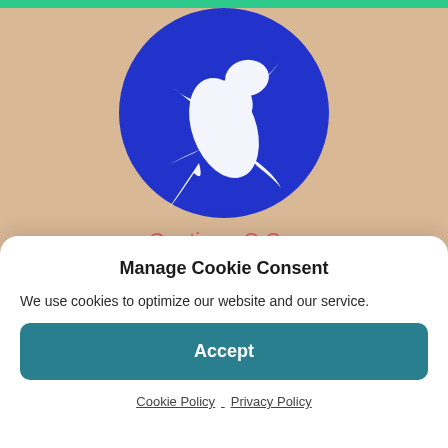[Figure (logo): Blue circular logo with a white lizard/salamander silhouette on a tan/beige background]
Continue C Co.
Manage Cookie Consent
We use cookies to optimize our website and our service.
Accept
Cookie Policy  Privacy Policy